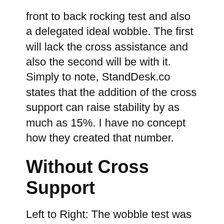front to back rocking test and also a delegated ideal wobble. The first will lack the cross assistance and also the second will be with it. Simply to note, StandDesk.co states that the addition of the cross support can raise stability by as much as 15%. I have no concept how they created that number.
Without Cross Support
Left to Right: The wobble test was a different situation. StandDesk Simple was the 2nd workdesk that I examined that tottered near the bottom with weight on the desktop computer. The very first was the IKEA Bekant. By the time it got to 36″ the shaking movement was bad. Beyond this factor it